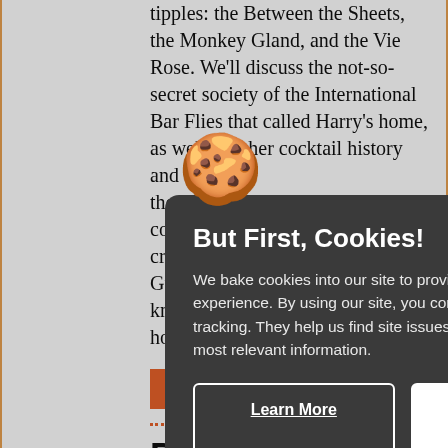tipples: the Between the Sheets, the Monkey Gland, and the Vie Rose. We'll discuss the not-so-secret society of the International Bar Flies that called Harry's home, as well as other cocktail history and... themselves... cocktail... create... Guest... know... home...
reser...
PIC... PA... CREAMERY
[Figure (screenshot): Cookie consent modal dialog with dark gray background, cookie emoji, title 'But First, Cookies!', body text about cookie policy, and two buttons: 'Learn More' and 'Accept & Continue']